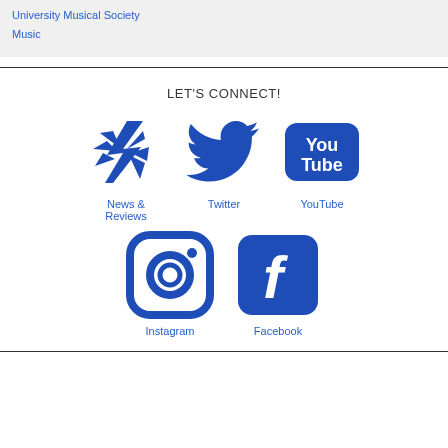University Musical Society
Music
LET'S CONNECT!
[Figure (logo): News & Reviews logo - blue starburst/lightning bolt graphic]
News & Reviews
[Figure (logo): Twitter bird logo in blue]
Twitter
[Figure (logo): YouTube logo - blue rounded rectangle with You Tube text]
YouTube
[Figure (logo): Instagram logo - blue rounded square with camera outline]
Instagram
[Figure (logo): Facebook logo - blue rounded square with f]
Facebook